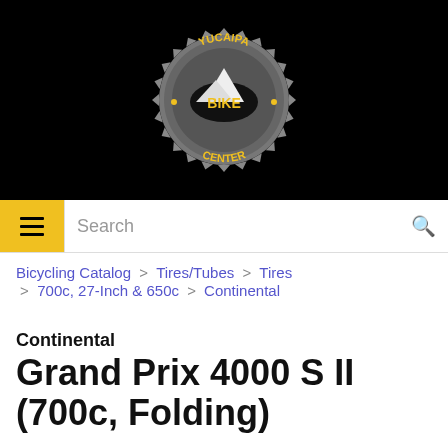[Figure (logo): Yucaipa Bike Center logo: gear/cog shape in gray with yellow text 'YUCAIPA' on top arc, 'BIKE' in center on black oval, 'CENTER' on bottom arc, mountain silhouette in white behind BIKE text]
Search
Bicycling Catalog > Tires/Tubes > Tires > 700c, 27-Inch & 650c > Continental
Continental
Grand Prix 4000 S II (700c, Folding)